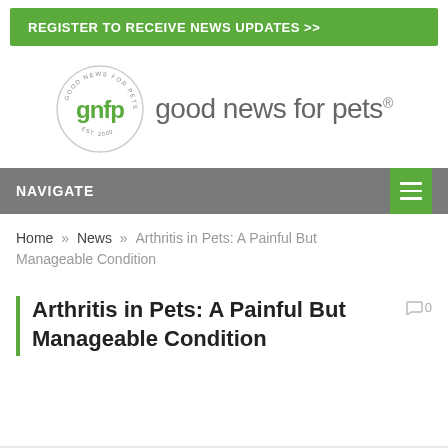REGISTER TO RECEIVE NEWS UPDATES >>
[Figure (logo): Good News for Pets logo: circular badge with gnfp text, EST. 2000, with text 'good news for pets' beside it]
NAVIGATE
Home » News » Arthritis in Pets: A Painful But Manageable Condition
Arthritis in Pets: A Painful But Manageable Condition